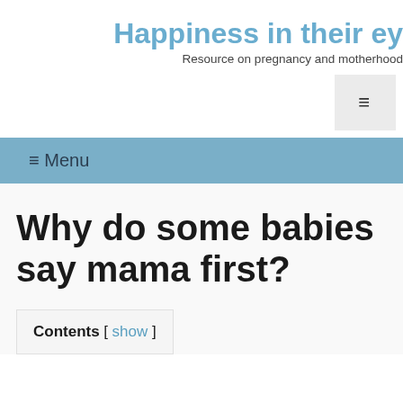Happiness in their ey...
Resource on pregnancy and motherhood
[Figure (other): Hamburger menu button icon (three horizontal lines) in a light gray box, positioned top right]
≡ Menu
Why do some babies say mama first?
Contents [ show ]